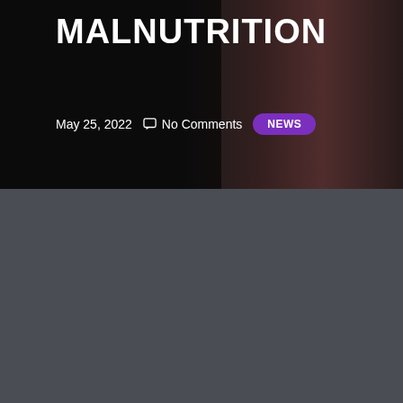[Figure (photo): Dark header background with a partially visible photo of a person, possibly a child, in the upper right area. Dark overlay on the left side.]
MALNUTRITION
May 25, 2022   No Comments   NEWS